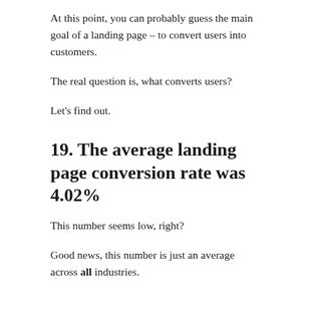At this point, you can probably guess the main goal of a landing page – to convert users into customers.
The real question is, what converts users?
Let's find out.
19. The average landing page conversion rate was 4.02%
This number seems low, right?
Good news, this number is just an average across all industries.